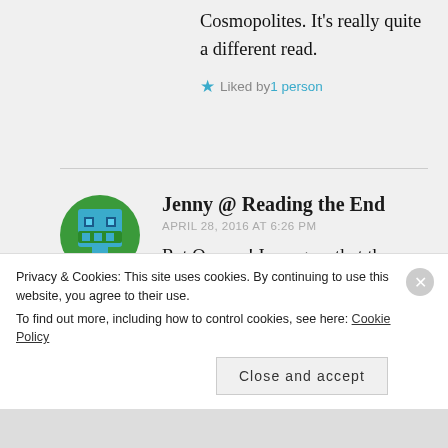Cosmopolites. It's really quite a different read.
★ Liked by 1 person
Jenny @ Reading the End
APRIL 28, 2016 AT 6:26 PM
Rat Queens! I so agree that the second volume is better than the first. I liked the first volume fine, but
Privacy & Cookies: This site uses cookies. By continuing to use this website, you agree to their use. To find out more, including how to control cookies, see here: Cookie Policy
Close and accept